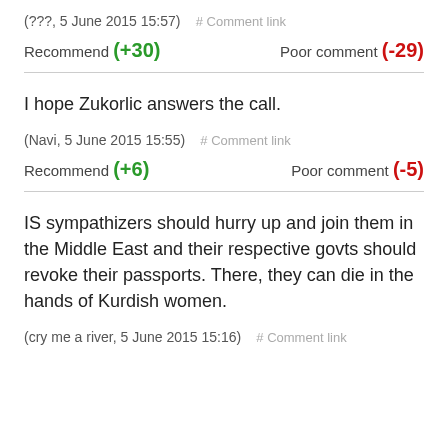(???, 5 June 2015 15:57)   # Comment link
Recommend (+30)   Poor comment (-29)
I hope Zukorlic answers the call.
(Navi, 5 June 2015 15:55)   # Comment link
Recommend (+6)   Poor comment (-5)
IS sympathizers should hurry up and join them in the Middle East and their respective govts should revoke their passports. There, they can die in the hands of Kurdish women.
(cry me a river, 5 June 2015 15:16)   # Comment link